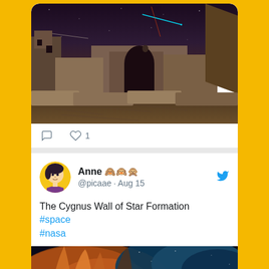[Figure (photo): Night sky photograph over ancient stone ruins/city with shooting stars and nebula visible in the dark purple sky]
♡ 1
[Figure (photo): User avatar - illustrated woman with dark hair and purple top on yellow circle background]
Anne 🙈🙉🙊 @picaae · Aug 15
The Cygnus Wall of Star Formation  #space #nasa
[Figure (photo): Cygnus Wall of Star Formation nebula image showing orange and teal cosmic clouds against star field]